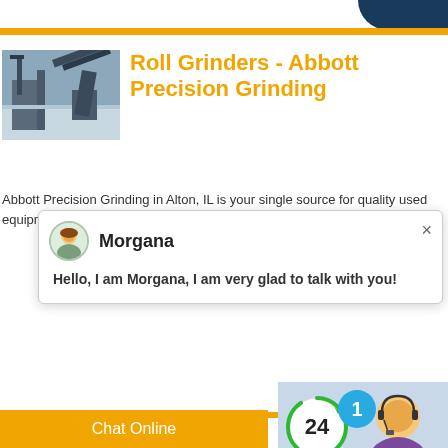[Figure (photo): Industrial machinery / mining equipment photo]
Roll Grinders - Abbott Precision Grinding
Abbott Precision Grinding in Alton, IL is your single source for quality used equipment: boring mills, roll grinders... (61...
[Figure (screenshot): Chat popup with avatar of Morgana. Text: Hello, I am Morgana, I am very glad to talk with you!]
<< Previous: Pour Les Mines De Charbo...
>> Next: Petit Occasion Asphalte Concas...
machoires bilan de masse de ncasseu... aluminium utilise et broyeur de verre a...
[Figure (screenshot): Chat widget panel with 24-hour timer, notification badge showing 1, Click me to chat label, Enquiry button, superbrian707 username]
Chat Online